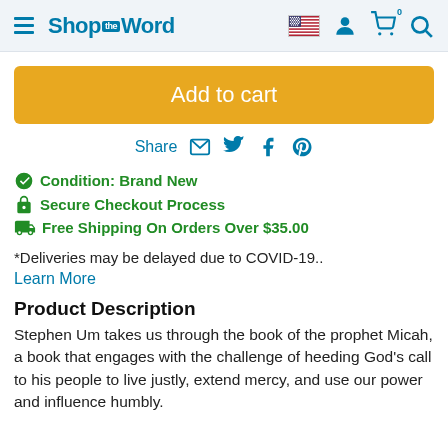ShopTheWord — navigation header with logo, flag, account, cart, search icons
Add to cart
Share
✅ Condition: Brand New
🔒 Secure Checkout Process
🚚 Free Shipping On Orders Over $35.00
*Deliveries may be delayed due to COVID-19..
Learn More
Product Description
Stephen Um takes us through the book of the prophet Micah, a book that engages with the challenge of heeding God's call to his people to live justly, extend mercy, and use our power and influence humbly.